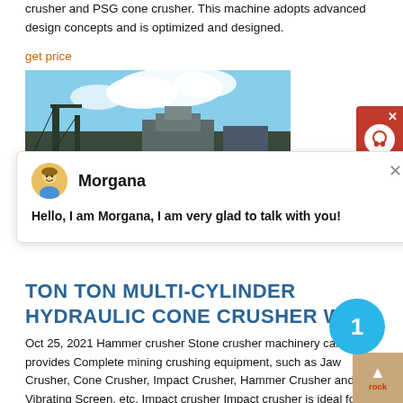crusher and PSG cone crusher. This machine adopts advanced design concepts and is optimized and designed.
get price
[Figure (photo): Outdoor industrial machinery / cone crusher equipment under a blue sky]
[Figure (screenshot): Chat widget popup with avatar of Morgana, showing message: Hello, I am Morgana, I am very glad to talk with you!]
TON TON MULTI-CYLINDER HYDRAULIC CONE CRUSHER WITH
Oct 25, 2021 Hammer crusher Stone crusher machinery can provides Complete mining crushing equipment, such as Jaw Crusher, Cone Crusher, Impact Crusher, Hammer Crusher and Vibrating Screen, etc. Impact crusher Impact crusher is ideal for secondary crushing. PF series crush medium hardness ore, and slag, etc. PEW series impact crusher takes advantages of